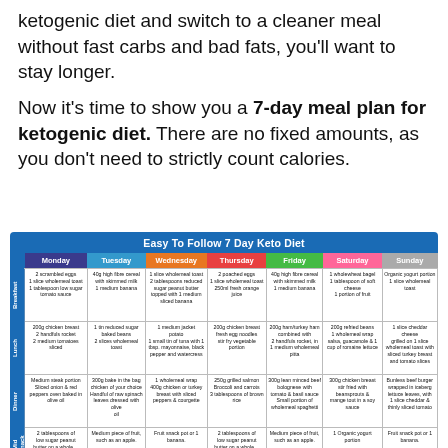ketogenic diet and switch to a cleaner meal without fast carbs and bad fats, you'll want to stay longer.
Now it's time to show you a 7-day meal plan for ketogenic diet. There are no fixed amounts, as you don't need to strictly count calories.
|  | Monday | Tuesday | Wednesday | Thursday | Friday | Saturday | Sunday |
| --- | --- | --- | --- | --- | --- | --- | --- |
| Breakfast | 2 scrambled eggs 1 slice wholemeal toast 1 tablespoon low sugar tomato sauce | 40g high fibre cereal with skimmed milk 1 medium banana | 1 slice wholemeal toast 2 tablespoons reduced sugar peanut butter topped with 1 medium sliced banana | 2 poached eggs 1 slice wholemeal toast 250ml fresh orange juice | 40g high fibre cereal with skimmed milk 1 medium banana | 1 wholewheat bagel 1 tablespoon of soft cheese 1 portion of fruit | Organic yogurt portion 1 slice wholemeal toast |
| Lunch | 200g chicken breast 2 handfuls rocket 2 medium tomatoes sliced | 1 tin reduced sugar baked beans 2 slices wholemeal toast | 1 medium jacket potato 1 small tin of tuna with 1 tbsp. mayonnaise, black pepper and watercress | 200g chicken breast fresh egg noodles stir fry vegetable portion | 200g ham/turkey ham combined with 2 handfuls rocket, in 1 medium wholemeal pitta | 200g refried beans 1 wholemeal wrap salsa, guacamole & 1 cup of romaine lettuce | 1 slice cheddar cheese grilled on 1 slice wholemeal toast with sliced turkey breast and tomato slices |
| Dinner | Medium steak portion Sliced onion & red peppers oven baked in olive oil | 300g bake in the bag chicken of your choice Handful of raw spinach leaves dressed with olive oil | 1 wholemeal wrap 400g chicken or turkey breast with sliced peppers & courgette | 250g grilled salmon Broccoli and carrots 3 tablespoons of brown rice | 300g lean minced beef bolognese with tomato & basil sauce Small portion of wholemeal spaghetti | 300g chicken breast stir fried with beansprouts & mange tout in a soy sauce | Bunless beef burger wrapped in iceberg lettuce leaves, with 1 slice cheddar & thinly sliced tomato |
| Mid Snack | 2 tablespoons of low sugar peanut butter on a whole… | Medium piece of fruit, such as an apple. | Fruit snack pot or 1 banana. | 2 tablespoons of low sugar peanut butter on a whole… | Medium piece of fruit, such as an apple. | 1 Organic yogurt portion | Fruit snack pot or 1 banana. |